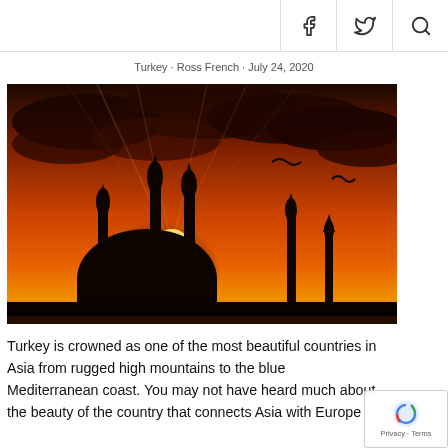f  twitter  search icons
Turkey · Ross French · July 24, 2020
[Figure (photo): Dramatic orange sunset silhouette of a mosque with multiple minarets, dark clouds, bright sun near horizon, birds in flight]
Turkey is crowned as one of the most beautiful countries in Asia from rugged high mountains to the blue Mediterranean coast. You may not have heard much about the beauty of the country that connects Asia with Europe...